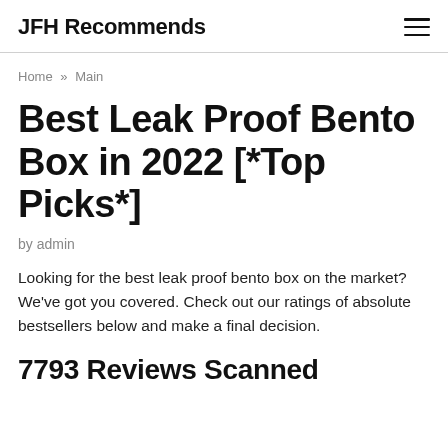JFH Recommends
Home » Main
Best Leak Proof Bento Box in 2022 [*Top Picks*]
by admin
Looking for the best leak proof bento box on the market? We've got you covered. Check out our ratings of absolute bestsellers below and make a final decision.
7793 Reviews Scanned